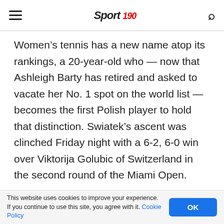Sport 190
Women’s tennis has a new name atop its rankings, a 20-year-old who — now that Ashleigh Barty has retired and asked to vacate her No. 1 spot on the world list — becomes the first Polish player to hold that distinction. Swiatek’s ascent was clinched Friday night with a 6-2, 6-0 win over Viktorija Golubic of Switzerland in the second round of the Miami Open.
When the tournament ends and the rankings are
This website uses cookies to improve your experience. If you continue to use this site, you agree with it. Cookie Policy